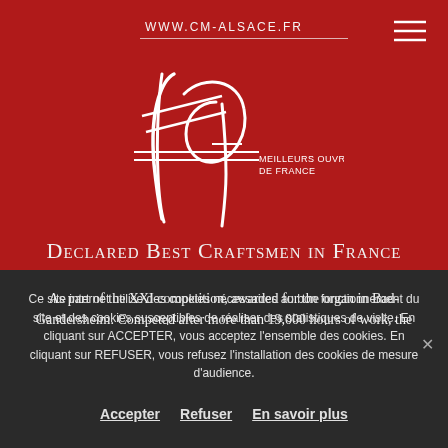WWW.CM-ALSACE.FR
[Figure (logo): MOF Meilleurs Ouvriers de France logo — stylized script 'mof' lettering in white with horizontal bars and text 'MEILLEURS OUVRIERS DE FRANCE' on red background]
Declared Best Craftsmen in France
As part of the XXI competition, awarded for the organ in Bad-Gandersheim. Competed after more than 19,000 hours of work, the
Ce site internet utilise des cookies nécessaires au bon fonctionnement du site et des cookies susceptibles de réaliser des statistiques de visite. En cliquant sur ACCEPTER, vous acceptez l'ensemble des cookies. En cliquant sur REFUSER, vous refusez l'installation des cookies de mesure d'audience.
Accepter   Refuser   En savoir plus